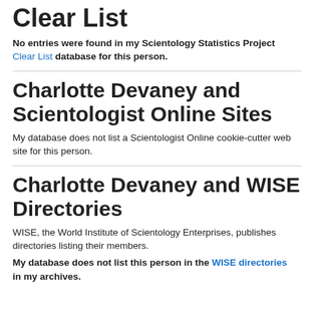Clear List
No entries were found in my Scientology Statistics Project Clear List database for this person.
Charlotte Devaney and Scientologist Online Sites
My database does not list a Scientologist Online cookie-cutter web site for this person.
Charlotte Devaney and WISE Directories
WISE, the World Institute of Scientology Enterprises, publishes directories listing their members.
My database does not list this person in the WISE directories in my archives.